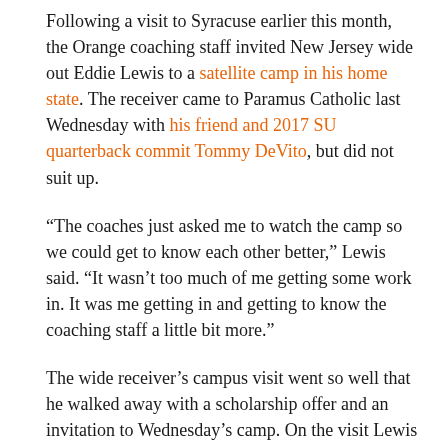Following a visit to Syracuse earlier this month, the Orange coaching staff invited New Jersey wide out Eddie Lewis to a satellite camp in his home state. The receiver came to Paramus Catholic last Wednesday with his friend and 2017 SU quarterback commit Tommy DeVito, but did not suit up.
“The coaches just asked me to watch the camp so we could get to know each other better,” Lewis said. “It wasn’t too much of me getting some work in. It was me getting in and getting to know the coaching staff a little bit more.”
The wide receiver’s campus visit went so well that he walked away with a scholarship offer and an invitation to Wednesday’s camp. On the visit Lewis really hit it off with